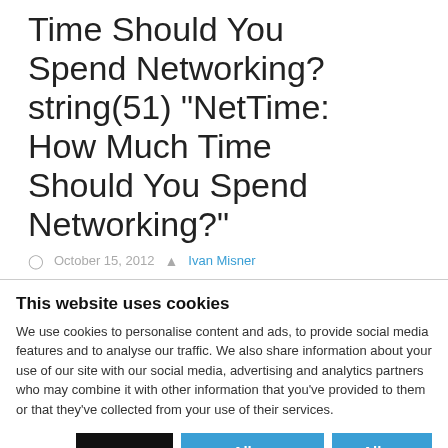Time Should You Spend Networking? string(51) "NetTime: How Much Time Should You Spend Networking?"
October 15, 2012  Ivan Misner
This website uses cookies
We use cookies to personalise content and ads, to provide social media features and to analyse our traffic. We also share information about your use of our site with our social media, advertising and analytics partners who may combine it with other information that you've provided to them or that they've collected from your use of their services.
Deny | Allow selection | Allow all
Necessary  Preferences  Statistics  Show details
Marketing